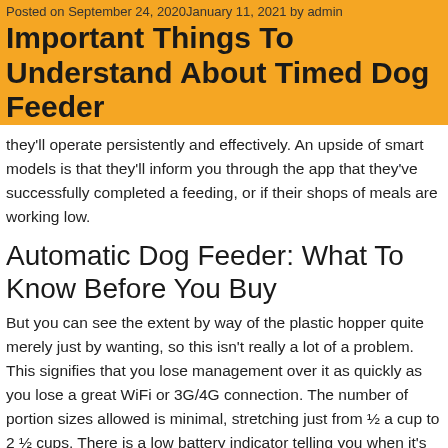Posted on September 24, 2020January 11, 2021 by admin
Important Things To Understand About Timed Dog Feeder
they'll operate persistently and effectively. An upside of smart models is that they'll inform you through the app that they've successfully completed a feeding, or if their shops of meals are working low.
Automatic Dog Feeder: What To Know Before You Buy
But you can see the extent by way of the plastic hopper quite merely just by wanting, so this isn't really a lot of a problem. This signifies that you lose management over it as quickly as you lose a great WiFi or 3G/4G connection. The number of portion sizes allowed is minimal, stretching just from ½ a cup to 2 ½ cups. There is a low battery indicator telling you when it's time to recharge.